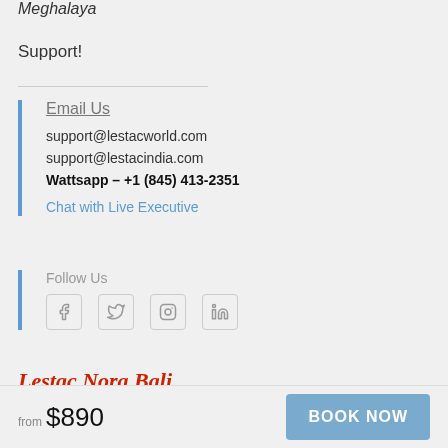Meghalaya
Support!
Email Us
support@lestacworld.com
support@lestacindia.com
Wattsapp – +1 (845) 413-2351
Chat with Live Executive
Follow Us
[Figure (illustration): Social media icons: Facebook, Twitter, Instagram, LinkedIn]
Lestac Nora Bali
Indonesia License No. – 0706220061383
from $890
BOOK NOW